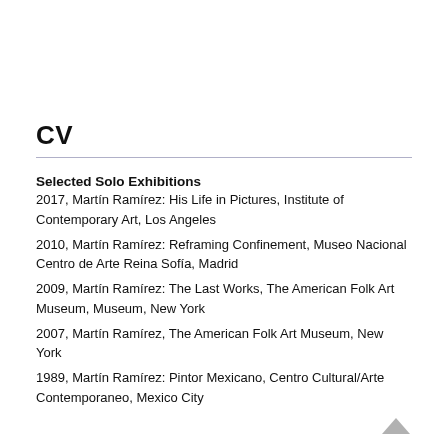CV
Selected Solo Exhibitions
2017, Martín Ramírez: His Life in Pictures, Institute of Contemporary Art, Los Angeles
2010, Martín Ramírez: Reframing Confinement, Museo Nacional Centro de Arte Reina Sofía, Madrid
2009, Martín Ramírez: The Last Works, The American Folk Art Museum, New York
2007, Martín Ramírez, The American Folk Art Museum, New York
1989, Martín Ramírez: Pintor Mexicano, Centro Cultural/Arte Contemporaneo, Mexico City